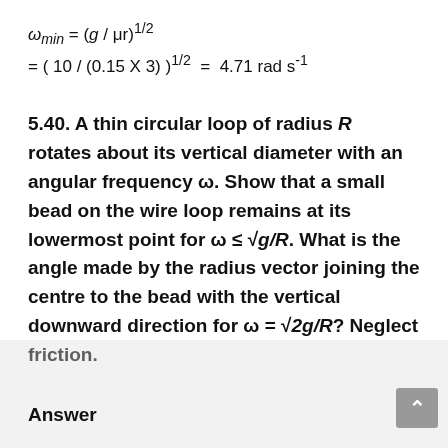5.40. A thin circular loop of radius R rotates about its vertical diameter with an angular frequency ω. Show that a small bead on the wire loop remains at its lowermost point for ω ≤ √g/R. What is the angle made by the radius vector joining the centre to the bead with the vertical downward direction for ω = √2g/R? Neglect friction.
Answer